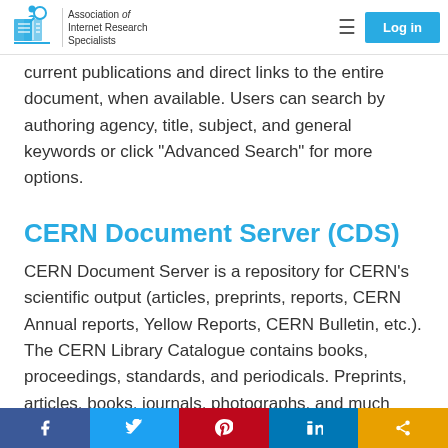Association of Internet Research Specialists | Log in
current publications and direct links to the entire document, when available. Users can search by authoring agency, title, subject, and general keywords or click "Advanced Search" for more options.
CERN Document Server (CDS)
CERN Document Server is a repository for CERN's scientific output (articles, preprints, reports, CERN Annual reports, Yellow Reports, CERN Bulletin, etc.). The CERN Library Catalogue contains books, proceedings, standards, and periodicals. Preprints, articles, books, journals, photographs, and much more are all included.
f  Twitter  Pinterest  in  Share